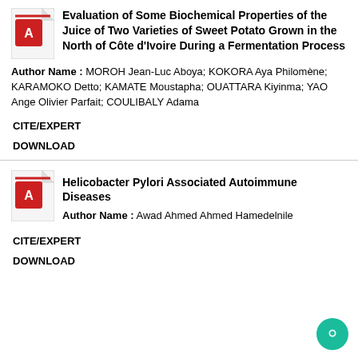[Figure (other): PDF document icon with red and white Adobe-style logo]
Evaluation of Some Biochemical Properties of the Juice of Two Varieties of Sweet Potato Grown in the North of Côte d'Ivoire During a Fermentation Process
Author Name : MOROH Jean-Luc Aboya; KOKORA Aya Philomène; KARAMOKO Detto; KAMATE Moustapha; OUATTARA Kiyinma; YAO Ange Olivier Parfait; COULIBALY Adama
CITE/EXPERT
DOWNLOAD
[Figure (other): PDF document icon with red and white Adobe-style logo]
Helicobacter Pylori Associated Autoimmune Diseases
Author Name : Awad Ahmed Ahmed Hamedelnile
CITE/EXPERT
DOWNLOAD